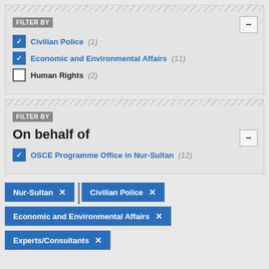FILTER BY
Civilian Police (1) — checked
Economic and Environmental Affairs (11) — checked
Human Rights (2) — unchecked
FILTER BY / On behalf of
OSCE Programme Office in Nur-Sultan (12) — checked
Nur-Sultan ×
Civilian Police ×
Economic and Environmental Affairs ×
Experts/Consultants ×